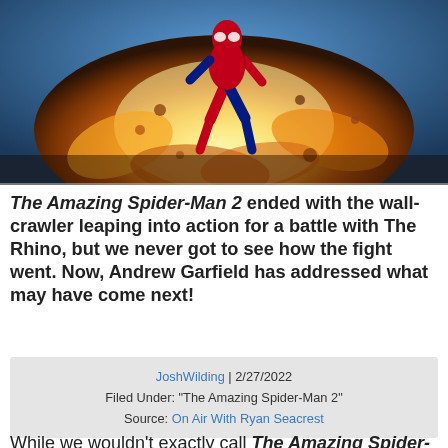[Figure (photo): Spider-Man figure leaping through a large fiery explosion, with orange and yellow flames surrounding the character against a blue background.]
The Amazing Spider-Man 2 ended with the wall-crawler leaping into action for a battle with The Rhino, but we never got to see how the fight went. Now, Andrew Garfield has addressed what may have come next!
JoshWilding | 2/27/2022
Filed Under: "The Amazing Spider-Man 2"
Source: On Air With Ryan Seacrest
While we wouldn't exactly call The Amazing Spider-Man 2's ending one of the all-time